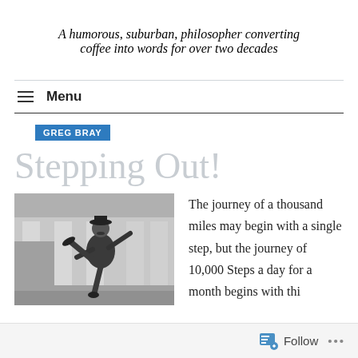A humorous, suburban, philosopher converting coffee into words for over two decades
Menu
GREG BRAY
Stepping Out!
[Figure (photo): Black and white photo of a man in a suit and bowler hat, kicking one leg high in the air in an exuberant pose, outdoors near a building with columns.]
The journey of a thousand miles may begin with a single step, but the journey of 10,000 Steps a day for a month begins with thi...
Follow ...